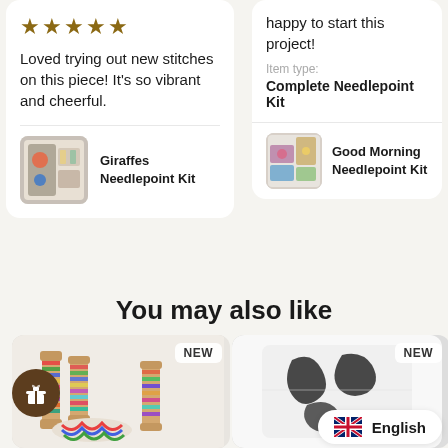[Figure (screenshot): Left review card with 5-star rating, review text, and Giraffes Needlepoint Kit product thumbnail]
★★★★★
Loved trying out new stitches on this piece! It's so vibrant and cheerful.
Giraffes Needlepoint Kit
[Figure (screenshot): Right review card with partial review text, item type label, Complete Needlepoint Kit, and Good Morning Needlepoint Kit product thumbnail]
happy to start this project!
Item type:
Complete Needlepoint Kit
Good Morning Needlepoint Kit
Show more reviews
You may also like
[Figure (photo): Product card showing yarn/thread colorful skein photo with NEW badge]
[Figure (photo): Product card showing abstract black-on-white needlepoint kit with NEW badge]
English